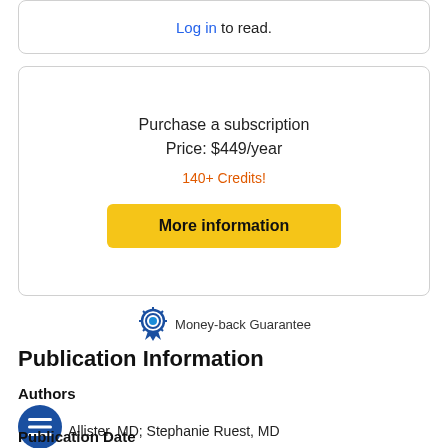Log in to read.
Purchase a subscription
Price: $449/year
140+ Credits!
More information
Money-back Guarantee
Publication Information
Authors
Allister, MD; Stephanie Ruest, MD
Publication Date